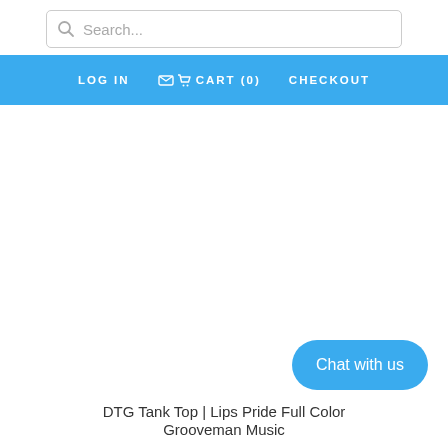Search...
LOG IN   CART (0)   CHECKOUT
[Figure (screenshot): White empty content area — product image not loaded]
Chat with us
DTG Tank Top | Lips Pride Full Color
Grooveman Music